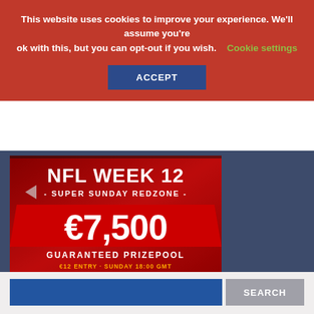This website uses cookies to improve your experience. We'll assume you're ok with this, but you can opt-out if you wish. Cookie settings
ACCEPT
[Figure (infographic): NFL Week 12 Super Sunday Redzone promotional banner by Fanteam. Shows €7,500 Guaranteed Prizepool. €12 Entry · Sunday 18:00 GMT. Red background with football imagery and Fanteam logo.]
Search text...
SEARCH